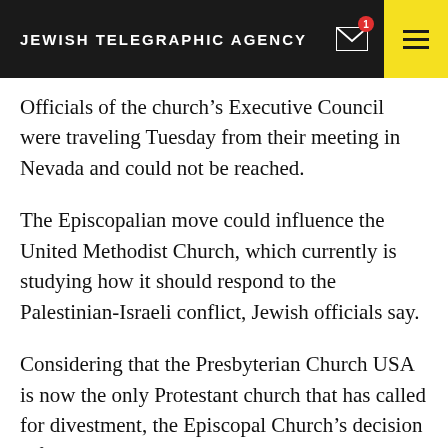JEWISH TELEGRAPHIC AGENCY
Officials of the church's Executive Council were traveling Tuesday from their meeting in Nevada and could not be reached.
The Episcopalian move could influence the United Methodist Church, which currently is studying how it should respond to the Palestinian-Israeli conflict, Jewish officials say.
Considering that the Presbyterian Church USA is now the only Protestant church that has called for divestment, the Episcopal Church's decision reflects a trend toward greater closeness between Jews and